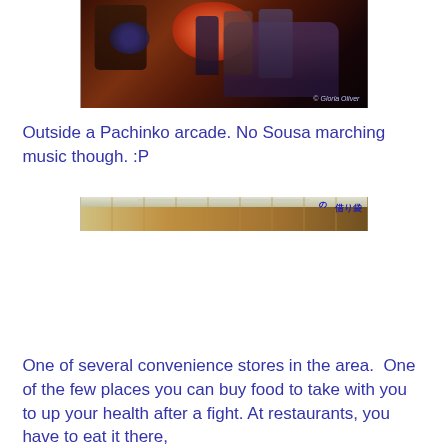[Figure (screenshot): Screenshot from a video game showing characters outside a Pachinko arcade at night, with red lanterns, neon signs, and a 'C Gloria Oliver' copyright watermark in the lower right.]
Outside a Pachinko arcade. No Sousa marching music though. :P
[Figure (screenshot): Screenshot from a video game showing the interior of a convenience store, with shelving, ceiling lights, and Japanese text signage.]
One of several convenience stores in the area.  One of the few places you can buy food to take with you to up your health after a fight. At restaurants, you have to eat it there,